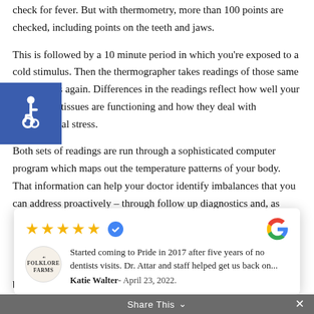check for fever. But with thermometry, more than 100 points are checked, including points on the teeth and jaws.
This is followed by a 10 minute period in which you're exposed to a cold stimulus. Then the thermographer takes readings of those same 100+ points again. Differences in the readings reflect how well your organs and tissues are functioning and how they deal with physiological stress.
Both sets of readings are run through a sophisticated computer program which maps out the temperature patterns of your body. That information can help your doctor identify imbalances that you can address proactively – through follow up diagnostics and, as
[Figure (other): Blue accessibility wheelchair icon badge in top-left corner]
Started coming to Pride in 2017 after five years of no dentists visits. Dr. Attar and staff helped get us back on...
Katie Walter - April 23, 2022.
biological approach. Prevention is the foundation.